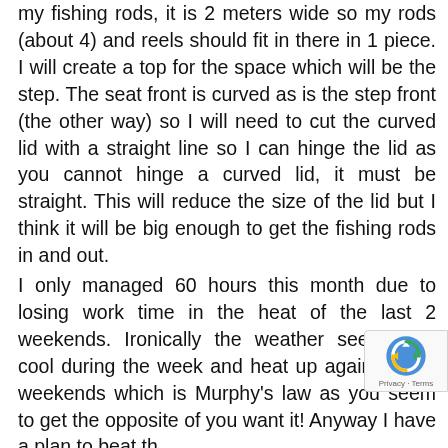my fishing rods, it is 2 meters wide so my rods (about 4) and reels should fit in there in 1 piece. I will create a top for the space which will be the step. The seat front is curved as is the step front (the other way) so I will need to cut the curved lid with a straight line so I can hinge the lid as you cannot hinge a curved lid, it must be straight. This will reduce the size of the lid but I think it will be big enough to get the fishing rods in and out.
I only managed 60 hours this month due to losing work time in the heat of the last 2 weekends. Ironically the weather seemed to cool during the week and heat up again on the weekends which is Murphy's law as you seem to get the opposite of you want it! Anyway I have a plan to beat th...